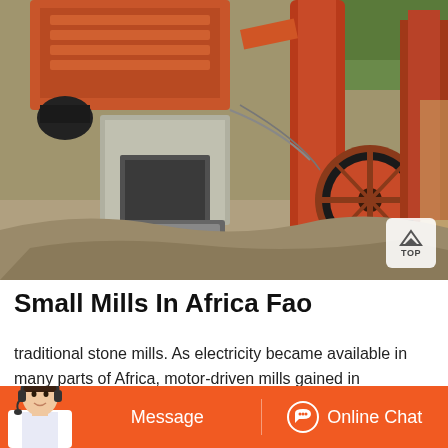[Figure (photo): Industrial stone crushing/milling machinery at an outdoor site. Large orange/red metal structures, concrete blocks, belts, pipes and mechanical components visible. Mining or quarrying equipment in operation.]
Small Mills In Africa Fao
traditional stone mills. As electricity became available in many parts of Africa, motor-driven mills gained in importance. However, it was not until the introduction of the diesel engine in the early twentieth century that high- speed mills were seen in more significant
[Figure (illustration): Bottom bar with orange background containing Message button on the left (with female customer service agent photo) and Online Chat button on the right with headset icon]